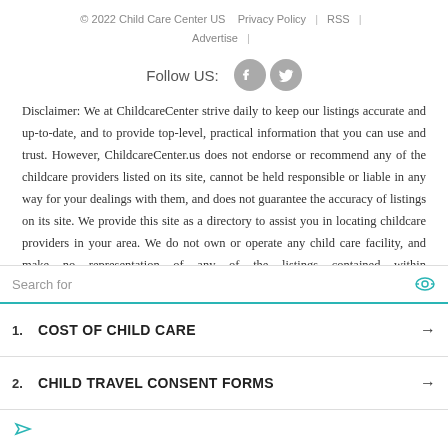© 2022 Child Care Center US   Privacy Policy  |  RSS  |  Advertise  |
Follow US:
Disclaimer: We at ChildcareCenter strive daily to keep our listings accurate and up-to-date, and to provide top-level, practical information that you can use and trust. However, ChildcareCenter.us does not endorse or recommend any of the childcare providers listed on its site, cannot be held responsible or liable in any way for your dealings with them, and does not guarantee the accuracy of listings on its site. We provide this site as a directory to assist you in locating childcare providers in your area. We do not own or operate any child care facility, and make no representation of any of the listings contained within ChildcareCenter.us.
Search for
1. COST OF CHILD CARE
2. CHILD TRAVEL CONSENT FORMS